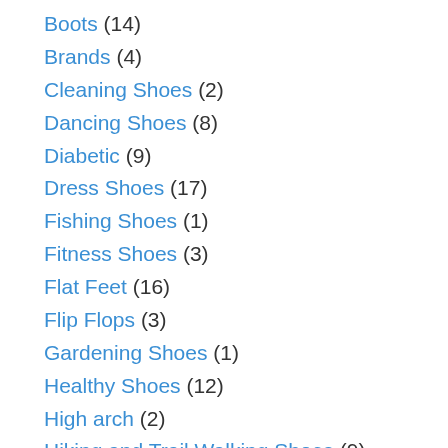Boots (14)
Brands (4)
Cleaning Shoes (2)
Dancing Shoes (8)
Diabetic (9)
Dress Shoes (17)
Fishing Shoes (1)
Fitness Shoes (3)
Flat Feet (16)
Flip Flops (3)
Gardening Shoes (1)
Healthy Shoes (12)
High arch (2)
Hiking and Trail Walking Shoes (9)
Insloes (12)